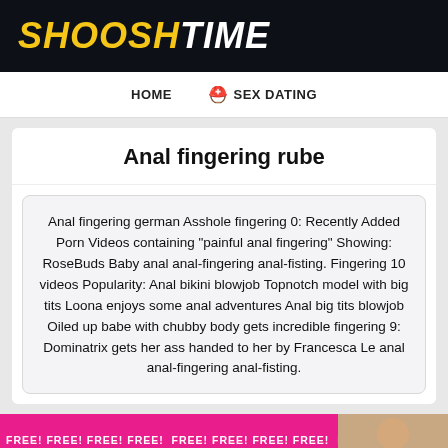SHOOSHTIME
HOME   🪖 SEX DATING
Anal fingering rube
Anal fingering german Asshole fingering 0: Recently Added Porn Videos containing "painful anal fingering" Showing: RoseBuds Baby anal anal-fingering anal-fisting. Fingering 10 videos Popularity: Anal bikini blowjob Topnotch model with big tits Loona enjoys some anal adventures Anal big tits blowjob Oiled up babe with chubby body gets incredible fingering 9: Dominatrix gets her ass handed to her by Francesca Le anal anal-fingering anal-fisting.
[Figure (photo): Pink banner with FREE! text repeated and partial image of a person on the right side]